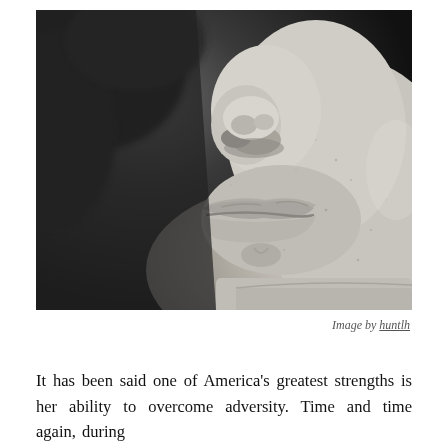[Figure (photo): Close-up black and white photograph of a stone statue face, showing the lower portion of the face including the nose, lips and chin, viewed from a slight angle below. The statue appears to be of a dignified figure. Background is dark and blurred.]
Image by huntlh
It has been said one of America's greatest strengths is her ability to overcome adversity. Time and time again, during